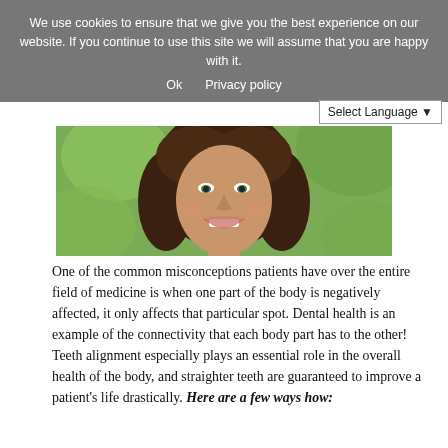We use cookies to ensure that we give you the best experience on our website. If you continue to use this site we will assume that you are happy with it.
Ok   Privacy policy
Select Language ▾
[Figure (photo): A smiling woman with curly dark hair against a green blurred background, showing white teeth in a bright smile.]
One of the common misconceptions patients have over the entire field of medicine is when one part of the body is negatively affected, it only affects that particular spot. Dental health is an example of the connectivity that each body part has to the other! Teeth alignment especially plays an essential role in the overall health of the body, and straighter teeth are guaranteed to improve a patient's life drastically. Here are a few ways how: